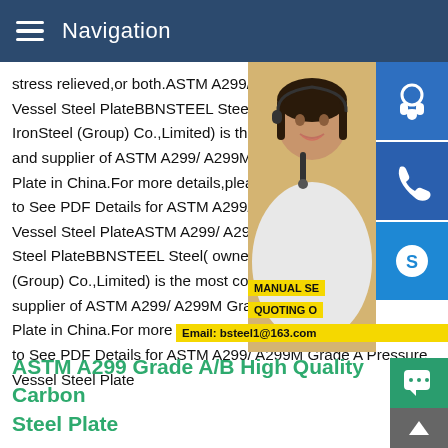Navigation
stress relieved,or both.ASTM A299/ A299M Pressure Vessel Steel PlateBBNSTEEL Steel( owned by BBN IronSteel (Group) Co.,Limited) is the most competitive and supplier of ASTM A299/ A299M Grade A Pressure Plate in China.For more details,please contact us freely. to See PDF Details for ASTM A299/ A299M Pressure Vessel Steel PlateASTM A299/ A299M Grade A Pressure Steel PlateBBNSTEEL Steel( owned by BBN IronSteel (Group) Co.,Limited) is the most competitive supplier of ASTM A299/ A299M Grade A Pressure Plate in China.For more details,please contact us freely.Click Here to See PDF Details for ASTM A299/ A299M Grade A Pressure Vessel Steel Plate
[Figure (photo): Customer service representative woman with headset, with blue icon buttons for chat, phone, and Skype overlaid on right side]
ASTM A299 Grade A/B High Quality Carbon Steel Plate